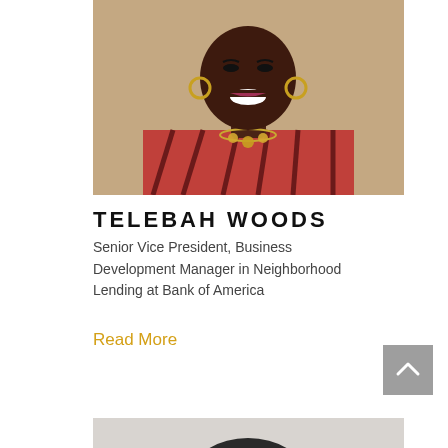[Figure (photo): Headshot of Telebah Woods, a woman smiling, wearing a red striped top and gold necklace, against a beige background]
TELEBAH WOODS
Senior Vice President, Business Development Manager in Neighborhood Lending at Bank of America
Read More
[Figure (photo): Partial headshot of another person, only top of head visible at bottom of page, black and white]